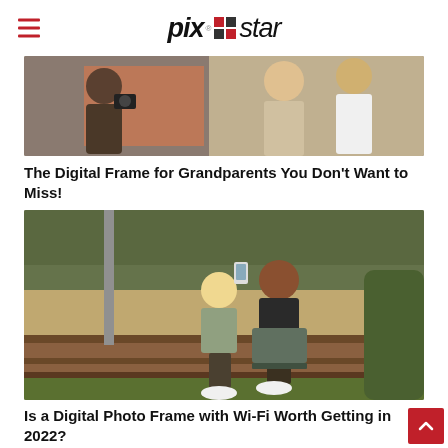pix·star
[Figure (photo): Two people outdoors near a brick wall, one holding a camera, another in casual clothing]
The Digital Frame for Grandparents You Don't Want to Miss!
[Figure (photo): Two women sitting on a wooden bench outdoors, one taking a selfie with a phone while the other holds a laptop]
Is a Digital Photo Frame with Wi-Fi Worth Getting in 2022?